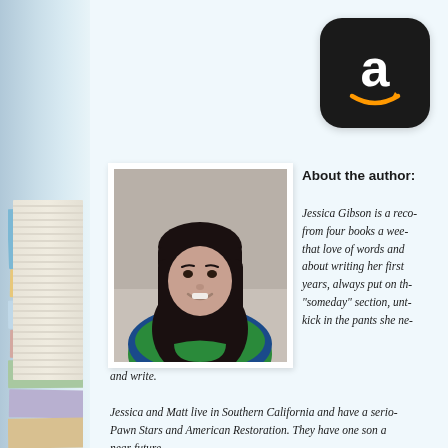[Figure (logo): Amazon app icon - black rounded square with white lowercase 'a' and orange smile arrow]
[Figure (photo): Photo of author Jessica Gibson, a woman with long dark hair and bangs, wearing a green and blue striped top, smiling at camera against a neutral background]
About the author:
Jessica Gibson is a reco- from four books a wee- that love of words and about writing her first years, always put on th- "someday" section, unt- kick in the pants she ne- and write.
Jessica and Matt live in Southern California and have a serio- Pawn Stars and American Restoration. They have one son a near future.